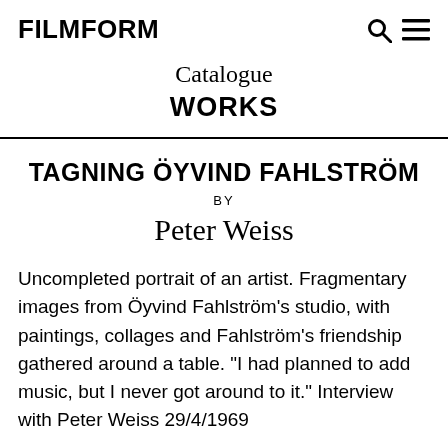FILMFORM
Catalogue
WORKS
TAGNING ÖYVIND FAHLSTRÖM
BY
Peter Weiss
Uncompleted portrait of an artist. Fragmentary images from Öyvind Fahlström's studio, with paintings, collages and Fahlström's friendship gathered around a table. "I had planned to add music, but I never got around to it." Interview with Peter Weiss 29/4/1969